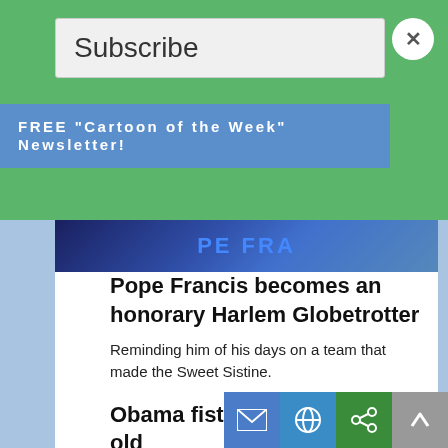Subscribe
FREE "Cartoon of the Week" Newsletter!
[Figure (photo): Partial photo showing person in blue with PE FRA text visible, Harlem Globetrotters related image]
Pope Francis becomes an honorary Harlem Globetrotter
Reminding him of his days on a team that made the Sweet Sistine.
Obama fist bumps a 4 year old
Look for FOX news to accuse him of child abuse.
Bill Clinton visits Kenya
Looks like Hillary’s serious about carrying Obama’s home state...